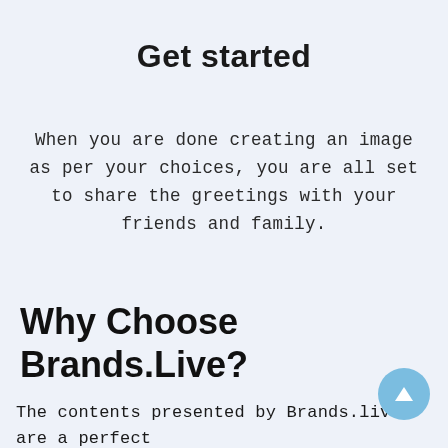Get started
When you are done creating an image as per your choices, you are all set to share the greetings with your friends and family.
Why Choose Brands.Live?
The contents presented by Brands.live are a perfect